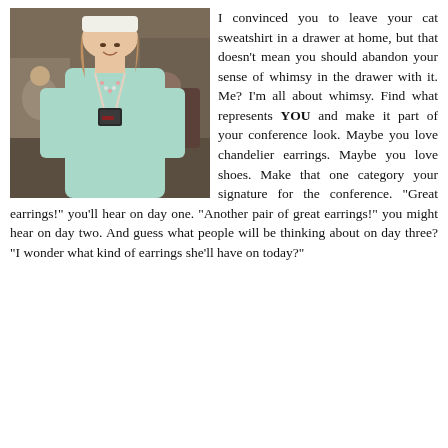[Figure (photo): A woman wearing a light mint/teal top and a white hat, with a conference badge lanyard around her neck, standing in what appears to be a hotel lobby or conference venue interior.]
I convinced you to leave your cat sweatshirt in a drawer at home, but that doesn't mean you should abandon your sense of whimsy in the drawer with it. Me? I'm all about whimsy. Find what represents YOU and make it part of your conference look. Maybe you love chandelier earrings. Maybe you love shoes. Make that one category your signature for the conference. "Great earrings!" you'll hear on day one. "Another pair of great earrings!" you might hear on day two. And guess what people will be thinking about on day three? "I wonder what kind of earrings she'll have on today?"
...